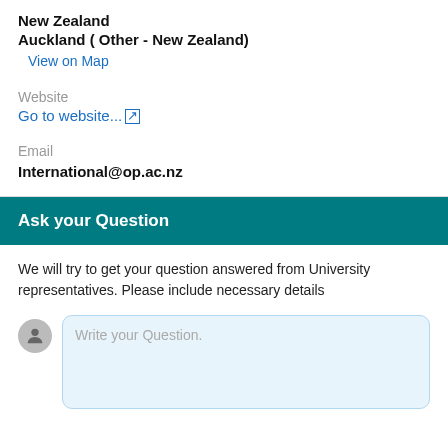New Zealand
Auckland ( Other - New Zealand)
View on Map
Website
Go to website... ↗
Email
International@op.ac.nz
Ask your Question
We will try to get your question answered from University representatives. Please include necessary details
Write your Question.